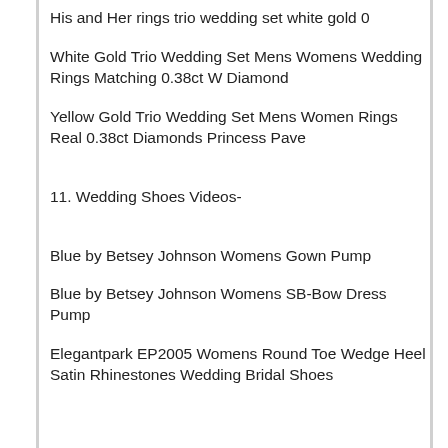His and Her rings trio wedding set white gold 0
White Gold Trio Wedding Set Mens Womens Wedding Rings Matching 0.38ct W Diamond
Yellow Gold Trio Wedding Set Mens Women Rings Real 0.38ct Diamonds Princess Pave
11. Wedding Shoes Videos-
Blue by Betsey Johnson Womens Gown Pump
Blue by Betsey Johnson Womens SB-Bow Dress Pump
Elegantpark EP2005 Womens Round Toe Wedge Heel Satin Rhinestones Wedding Bridal Shoes